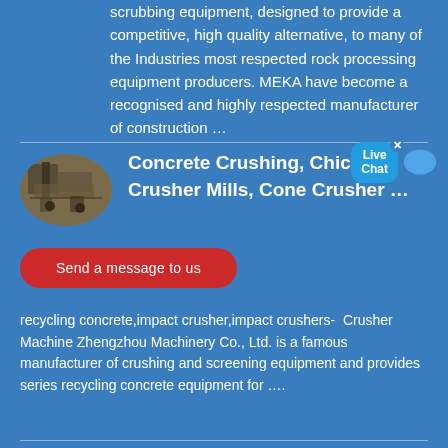scrubbing equipment, designed to provide a competitive, high quality alternative, to many of the Industries most respected rock processing equipment producers. MEKA have become a recognised and highly respected manufacturer of construction …
Concrete Crushing, Chicago Crusher Mills, Cone Crusher …
[Figure (photo): Oval thumbnail image of concrete crushing machinery at a construction site]
Send a message to us
recycling concrete,impact crusher,impact crushers-  Crusher Machine Zhengzhou Machinery Co., Ltd. is a famous manufacturer of crushing and screening equipment and provides series recycling concrete equipment for ….